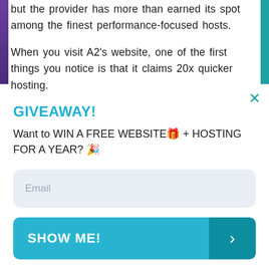but the provider has more than earned its spot among the finest performance-focused hosts.
When you visit A2's website, one of the first things you notice is that it claims 20x quicker hosting.
GIVEAWAY!
Want to WIN A FREE WEBSITE🎁 + HOSTING FOR A YEAR? 🎉